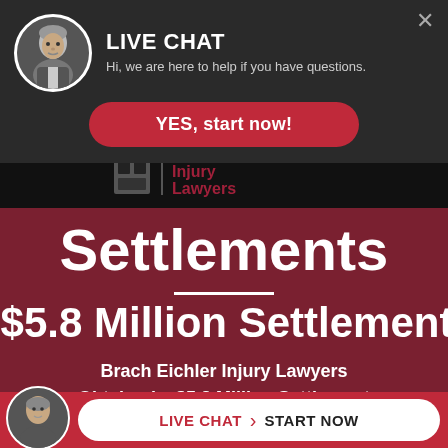[Figure (screenshot): Live chat overlay panel with lawyer avatar photo, dark background, showing LIVE CHAT heading and subtitle text, with a red YES start now button]
LIVE CHAT
Hi, we are here to help if you have questions.
YES, start now!
[Figure (logo): Brach Eichler Injury Lawyers logo on black bar]
Settlements
$5.8 Million Settlement
Brach Eichler Injury Lawyers Obtained a $5.8 Million Settlement
[Figure (screenshot): Bottom live chat bar with lawyer avatar, red background, white rounded button with LIVE CHAT and START NOW text]